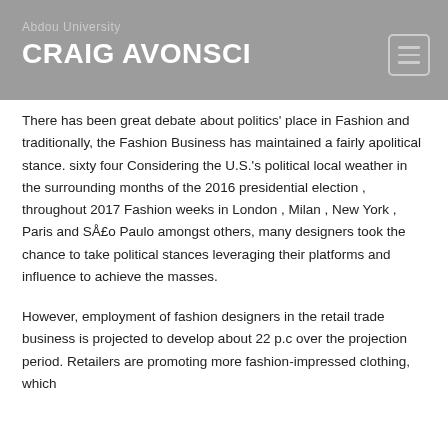CRAIG AVONSCI
There has been great debate about politics' place in Fashion and traditionally, the Fashion Business has maintained a fairly apolitical stance. sixty four Considering the U.S.'s political local weather in the surrounding months of the 2016 presidential election , throughout 2017 Fashion weeks in London , Milan , New York , Paris and SÅ£o Paulo amongst others, many designers took the chance to take political stances leveraging their platforms and influence to achieve the masses.
However, employment of fashion designers in the retail trade business is projected to develop about 22 p.c over the projection period. Retailers are promoting more fashion-impressed clothing, which